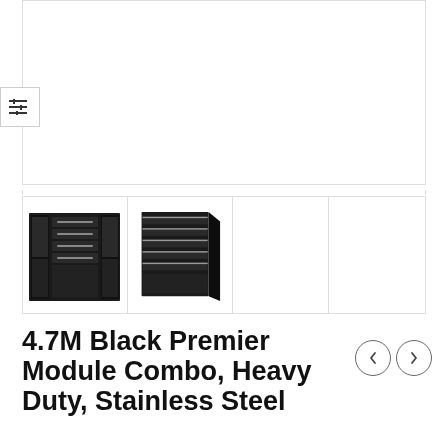[Figure (photo): Top white empty area with light border boxes — placeholder/empty image regions on a product listing page]
[Figure (photo): Row of four product thumbnail images: first shows a black modular cabinet system from front view, second shows side/angled view of the same black stainless steel cabinet combo, third and fourth are blank/empty thumbnail slots]
4.7M Black Premier Module Combo, Heavy Duty, Stainless Steel